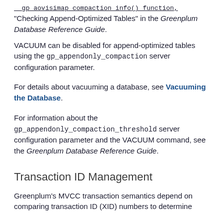__gp_aovisimap_compaction_info() function, "Checking Append-Optimized Tables" in the Greenplum Database Reference Guide.
VACUUM can be disabled for append-optimized tables using the gp_appendonly_compaction server configuration parameter.
For details about vacuuming a database, see Vacuuming the Database.
For information about the gp_appendonly_compaction_threshold server configuration parameter and the VACUUM command, see the Greenplum Database Reference Guide.
Transaction ID Management
Greenplum's MVCC transaction semantics depend on comparing transaction ID (XID) numbers to determine...